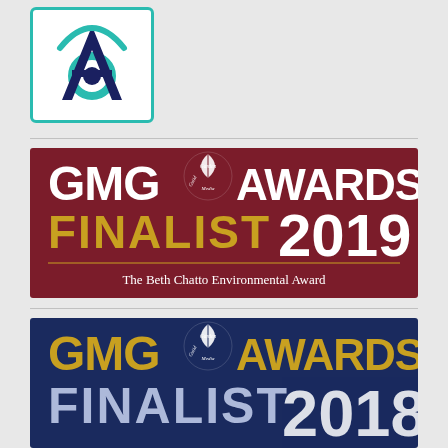[Figure (logo): Accessibility/disability services logo: letter A with a circular swoosh element, dark navy blue, inside a white rounded rectangle with teal border]
[Figure (logo): GMG Garden Media Guild Awards 2019 Finalist badge - dark red/maroon background, white GMG AWARDS text, gold FINALIST text, white 2019, subtitle: The Beth Chatto Environmental Award]
[Figure (logo): GMG Garden Media Guild Awards 2018 Finalist badge - dark navy blue background, gold GMG AWARDS text, gold FINALIST text, partially visible 2018 year number (cropped)]